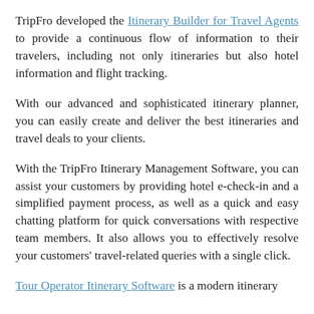TripFro developed the Itinerary Builder for Travel Agents to provide a continuous flow of information to their travelers, including not only itineraries but also hotel information and flight tracking.
With our advanced and sophisticated itinerary planner, you can easily create and deliver the best itineraries and travel deals to your clients.
With the TripFro Itinerary Management Software, you can assist your customers by providing hotel e-check-in and a simplified payment process, as well as a quick and easy chatting platform for quick conversations with respective team members. It also allows you to effectively resolve your customers' travel-related queries with a single click.
Tour Operator Itinerary Software is a modern itinerary